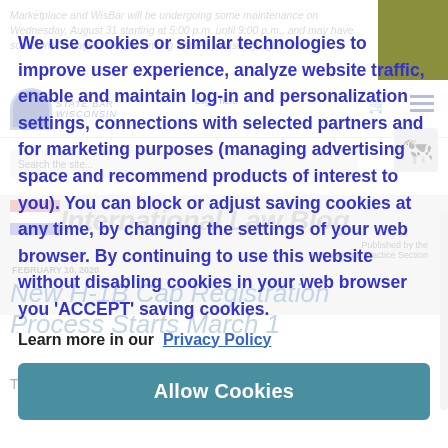Marketplace and WisBar will be undergoing some maintenance on Wednesday, August 31 starting at 5:00 p.m. until 9:00 p.m., and may have some brief outages. If experiencing issues, please try again later.
We use cookies or similar technologies to improve user experience, analyze website traffic, enable and maintain log-in and personalization settings, connections with selected partners and for marketing purposes (managing advertising space and recommend products of interest to you). You can block or adjust saving cookies at any time, by changing the settings of your web browser. By continuing to use this website without disabling cookies in your web browser you 'ACCEPT' saving cookies.
Learn more in our  Privacy Policy
Allow Cookies
FEBRUARY 10, 2020
New H-1B Cap Registration Process Starts March 1
The U.S. Citizenship and Immigration Services